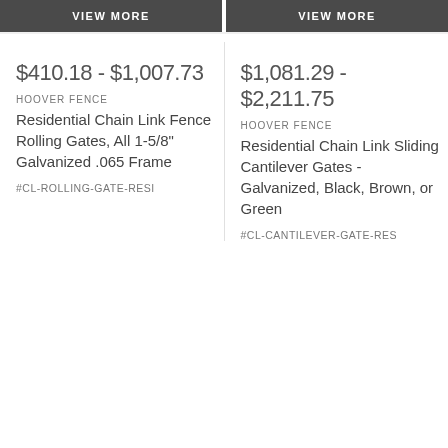VIEW MORE
VIEW MORE
$410.18 - $1,007.73
HOOVER FENCE
Residential Chain Link Fence Rolling Gates, All 1-5/8" Galvanized .065 Frame
#CL-ROLLING-GATE-RESI
$1,081.29 - $2,211.75
HOOVER FENCE
Residential Chain Link Sliding Cantilever Gates - Galvanized, Black, Brown, or Green
#CL-CANTILEVER-GATE-RES